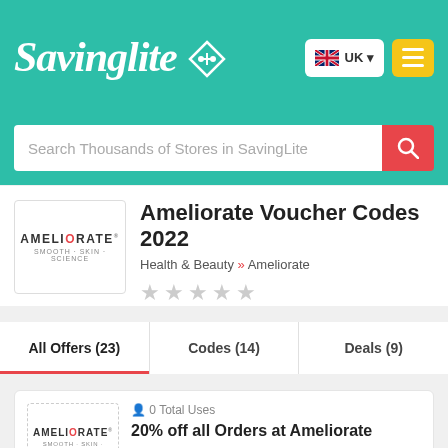[Figure (logo): SavingLite website header with teal background, SavingLite logo in white italic script, UK flag language selector, and yellow hamburger menu button]
Search Thousands of Stores in SavingLite
Ameliorate Voucher Codes 2022
Health & Beauty » Ameliorate
All Offers (23)
Codes (14)
Deals (9)
0 Total Uses
20% off all Orders at Ameliorate
Enter this discount code at checkout to save 20% on all orders at Ameliorate.